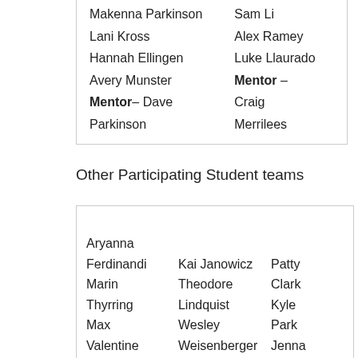| Makenna Parkinson | Sam Li |
| Lani Kross | Alex Ramey |
| Hannah Ellingen | Luke Llaurado |
| Avery Munster | Mentor – |
| Mentor– Dave | Craig |
| Parkinson | Merrilees |
Other Participating Student teams
| Aryanna |  |  |
| Ferdinandi | Kai Janowicz | Patty |
| Marin | Theodore | Clark |
| Thyrring | Lindquist | Kyle |
| Max | Wesley | Park |
| Valentine | Weisenberger | Jenna |
| Connor | Robert | Miller |